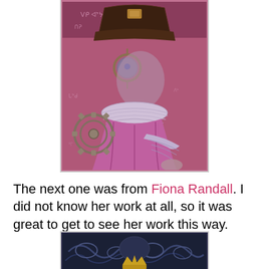[Figure (illustration): A steampunk-style mixed media artwork showing a figure in pink/magenta tones wearing a tricorn hat, with a monocle/lens over one eye, a gear/cog element on the left side, and an elaborate ruffled collar. Text elements visible in the background. Pink and lavender color palette.]
The next one was from Fiona Randall. I did not know her work at all, so it was great to get to see her work this way.
[Figure (illustration): A dark blue/navy mixed media artwork showing a figure with ornate decorative swirling patterns and a golden crown element at the bottom center. Dark blue and indigo tones with gold accent.]